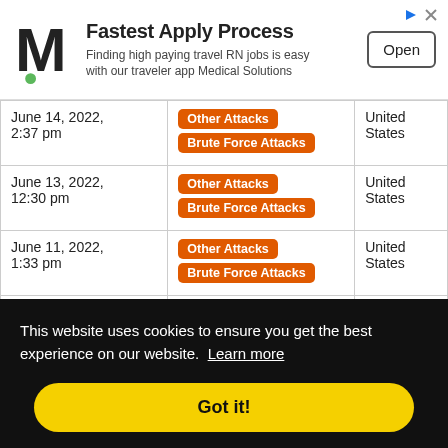[Figure (other): Advertisement banner: Medical Solutions logo (M with green dot), headline 'Fastest Apply Process', subtext 'Finding high paying travel RN jobs is easy with our traveler app Medical Solutions', and an 'Open' button]
| Date | Attack Type | Country |
| --- | --- | --- |
| June 14, 2022, 2:37 pm | Other Attacks | Brute Force Attacks | United States |
| June 13, 2022, 12:30 pm | Other Attacks | Brute Force Attacks | United States |
| June 11, 2022, 1:33 pm | Other Attacks | Brute Force Attacks | United States |
| June 10, 2022, ... | Other Attacks | United |
| ... 11:46 am |  | States |
| June 7, 2022, 1... | Other Attacks | United |
This website uses cookies to ensure you get the best experience on our website. Learn more
Got it!